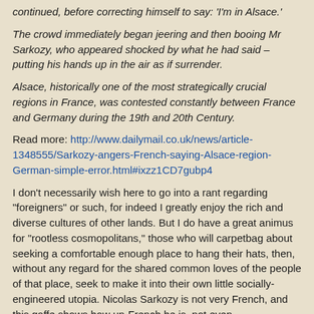continued, before correcting himself to say: 'I'm in Alsace.'
The crowd immediately began jeering and then booing Mr Sarkozy, who appeared shocked by what he had said – putting his hands up in the air as if surrender.
Alsace, historically one of the most strategically crucial regions in France, was contested constantly between France and Germany during the 19th and 20th Century.
Read more: http://www.dailymail.co.uk/news/article-1348555/Sarkozy-angers-French-saying-Alsace-region-German-simple-error.html#ixzz1CD7gubp4
I don't necessarily wish here to go into a rant regarding "foreigners" or such, for indeed I greatly enjoy the rich and diverse cultures of other lands. But I do have a great animus for "rootless cosmopolitans," those who will carpetbag about seeking a comfortable enough place to hang their hats, then, without any regard for the shared common loves of the people of that place, seek to make it into their own little socially-engineered utopia. Nicolas Sarkozy is not very French, and this gaffe shows how un-French he is, not even